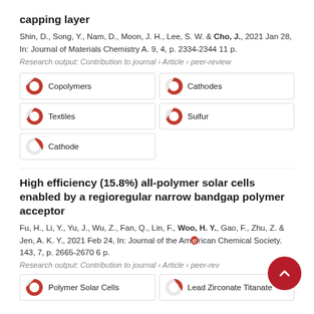capping layer
Shin, D., Song, Y., Nam, D., Moon, J. H., Lee, S. W. & Cho, J., 2021 Jan 28, In: Journal of Materials Chemistry A. 9, 4, p. 2334-2344 11 p.
Research output: Contribution to journal › Article › peer-review
| Copolymers | Cathodes |
| Textiles | Sulfur |
| Cathode |  |
High efficiency (15.8%) all-polymer solar cells enabled by a regioregular narrow bandgap polymer acceptor
Fu, H., Li, Y., Yu, J., Wu, Z., Fan, Q., Lin, F., Woo, H. Y., Gao, F., Zhu, Z. & Jen, A. K. Y., 2021 Feb 24, In: Journal of the American Chemical Society. 143, 7, p. 2665-2670 6 p.
Research output: Contribution to journal › Article › peer-review
| Polymer Solar Cells | Lead Zirconate Titanate |